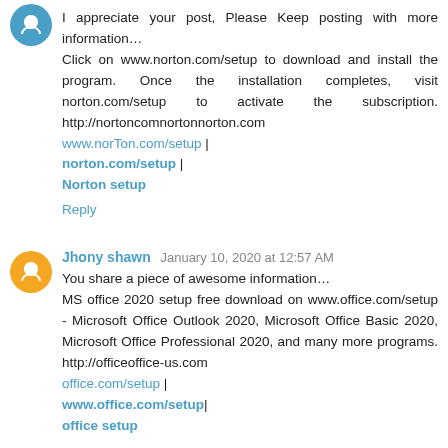I appreciate your post, Please Keep posting with more information… Click on www.norton.com/setup to download and install the program. Once the installation completes, visit norton.com/setup to activate the subscription. http://nortoncomnortonnorton.com www.norTon.com/setup | norton.com/setup | Norton setup
Reply
Jhony shawn  January 10, 2020 at 12:57 AM
You share a piece of awesome information… MS office 2020 setup free download on www.office.com/setup - Microsoft Office Outlook 2020, Microsoft Office Basic 2020, Microsoft Office Professional 2020, and many more programs. http://officeoffice-us.com office.com/setup | www.office.com/setup| office setup